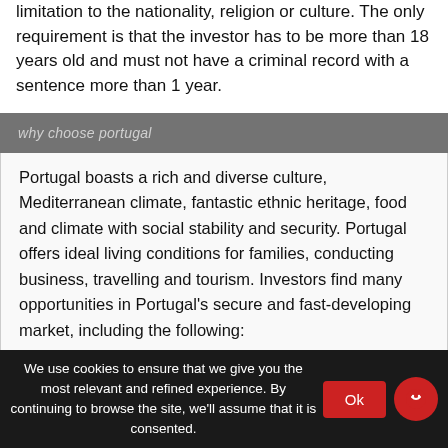limitation to the nationality, religion or culture. The only requirement is that the investor has to be more than 18 years old and must not have a criminal record with a sentence more than 1 year.
why choose portugal
Portugal boasts a rich and diverse culture, Mediterranean climate, fantastic ethnic heritage, food and climate with social stability and security. Portugal offers ideal living conditions for families, conducting business, travelling and tourism. Investors find many opportunities in Portugal's secure and fast-developing market, including the following:
We use cookies to ensure that we give you the most relevant and refined experience. By continuing to browse the site, we'll assume that it is consented. Ok